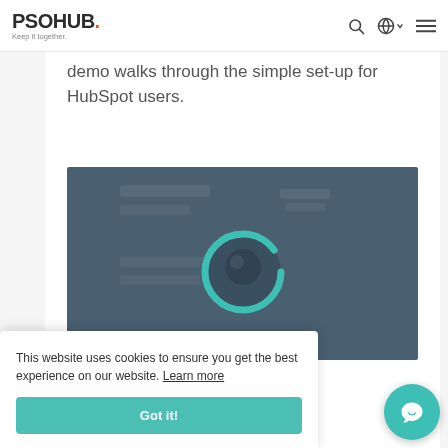PSOHUB. Keep it together.
demo walks through the simple set-up for HubSpot users.
[Figure (screenshot): Video player thumbnail showing a loading spinner (teal circular ring) on a dark blue-grey background]
This website uses cookies to ensure you get the best experience on our website. Learn more
Got it!